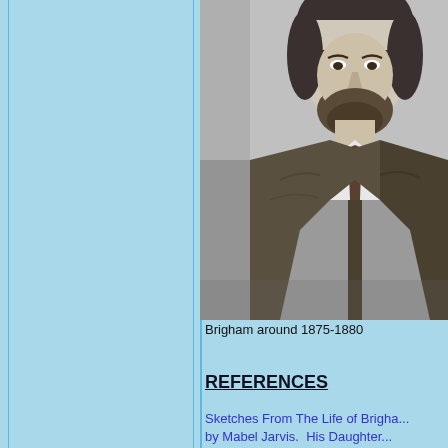[Figure (photo): Black and white photograph of a bearded man in a suit and tie, identified as Brigham, circa 1875-1880]
Brigham around 1875-1880
REFERENCES
Sketches From The Life of Brigha... by Mabel Jarvis. His Daughter...